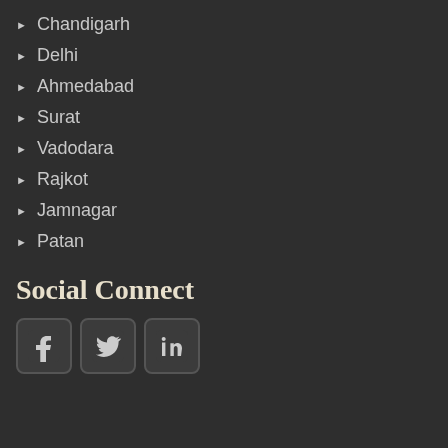Chandigarh
Delhi
Ahmedabad
Surat
Vadodara
Rajkot
Jamnagar
Patan
Social Connect
[Figure (illustration): Social media icons: Facebook, Twitter, LinkedIn]